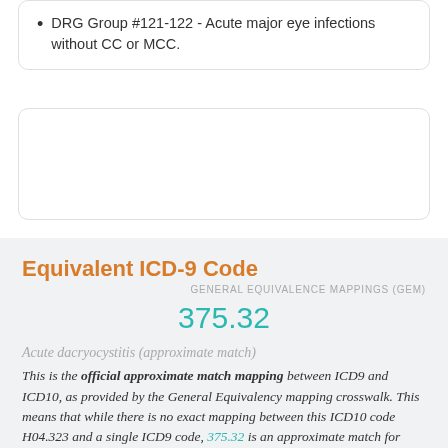DRG Group #121-122 - Acute major eye infections without CC or MCC.
Equivalent ICD-9 Code
GENERAL EQUIVALENCE MAPPINGS (GEM)
375.32
Acute dacryocystitis (approximate match)
This is the official approximate match mapping between ICD9 and ICD10, as provided by the General Equivalency mapping crosswalk. This means that while there is no exact mapping between this ICD10 code H04.323 and a single ICD9 code, 375.32 is an approximate match for comparison and conversion purposes.